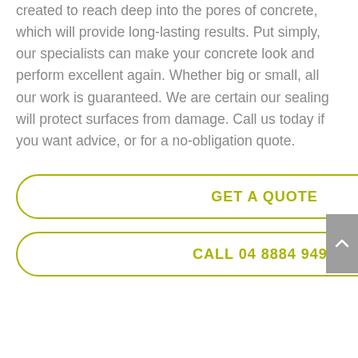created to reach deep into the pores of concrete, which will provide long-lasting results. Put simply, our specialists can make your concrete look and perform excellent again. Whether big or small, all our work is guaranteed. We are certain our sealing will protect surfaces from damage. Call us today if you want advice, or for a no-obligation quote.
GET A QUOTE
CALL 04 8884 9492